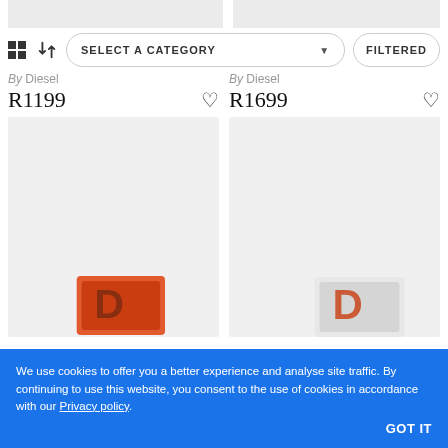[Figure (screenshot): Top strip of two product image placeholders (grey/white cards)]
[Figure (screenshot): Toolbar with grid icon, sort icon, SELECT A CATEGORY dropdown, and FILTERED button]
By Diesel
R1199
By Diesel
R1699
[Figure (photo): Product card left: light grey background with partial orange Diesel product visible at bottom]
[Figure (photo): Product card right: light grey background with partial white/red Diesel product visible at bottom]
We use cookies to offer you a better experience and analyse site traffic. By continuing to use this website, you consent to the use of cookies in accordance with our Privacy policy.
GOT IT